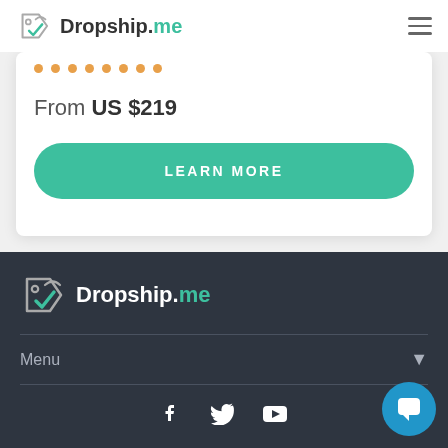Dropship.me
From US $219
LEARN MORE
[Figure (logo): Dropship.me logo with tag icon and teal checkmark, white background footer version]
Menu
[Figure (infographic): Social media icons: Facebook, Twitter, YouTube in white on dark background]
[Figure (other): Blue circular chat/messaging button with white speech bubble icon in bottom right corner]